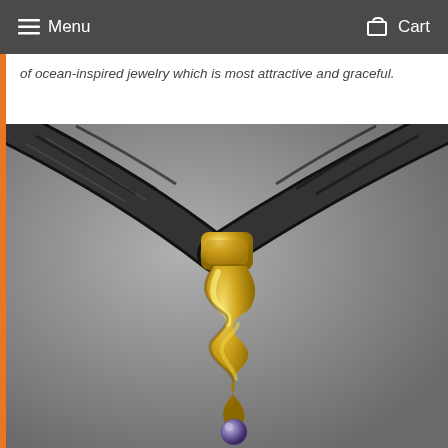Menu   Cart
of ocean-inspired jewelry which is most attractive and graceful.
[Figure (photo): Close-up photograph of a gold organic-form pendant (resembling a fluid, wavy shape with a pearl at the bottom) on a black braided leather cord, against a grey background.]